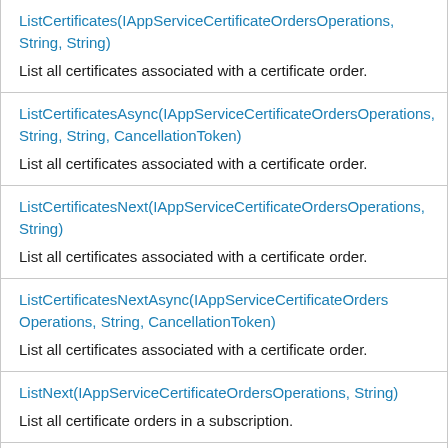| ListCertificates(IAppServiceCertificateOrdersOperations, String, String) | List all certificates associated with a certificate order. |
| ListCertificatesAsync(IAppServiceCertificateOrdersOperations, String, String, CancellationToken) | List all certificates associated with a certificate order. |
| ListCertificatesNext(IAppServiceCertificateOrdersOperations, String) | List all certificates associated with a certificate order. |
| ListCertificatesNextAsync(IAppServiceCertificateOrdersOperations, String, CancellationToken) | List all certificates associated with a certificate order. |
| ListNext(IAppServiceCertificateOrdersOperations, String) | List all certificate orders in a subscription. |
| ListNextAsync(IAppServiceCertificateOrdersOperations, String, CancellationToken) |  |